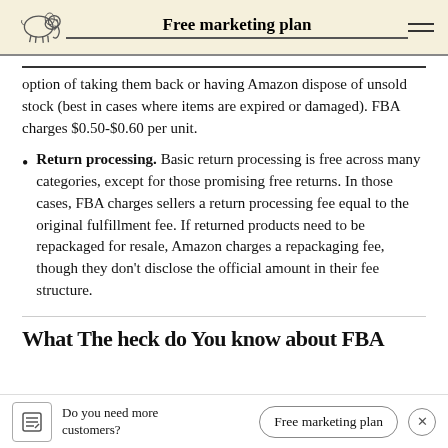Free marketing plan
option of taking them back or having Amazon dispose of unsold stock (best in cases where items are expired or damaged). FBA charges $0.50-$0.60 per unit.
Return processing. Basic return processing is free across many categories, except for those promising free returns. In those cases, FBA charges sellers a return processing fee equal to the original fulfillment fee. If returned products need to be repackaged for resale, Amazon charges a repackaging fee, though they don't disclose the official amount in their fee structure.
What The heck do You know about FBA
Do you need more customers? | Free marketing plan